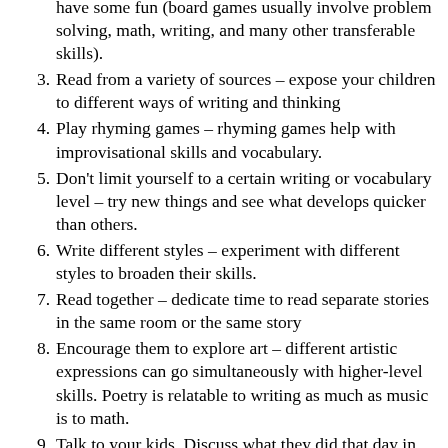(continuation) have some fun (board games usually involve problem solving, math, writing, and many other transferable skills).
3. Read from a variety of sources – expose your children to different ways of writing and thinking
4. Play rhyming games – rhyming games help with improvisational skills and vocabulary.
5. Don't limit yourself to a certain writing or vocabulary level – try new things and see what develops quicker than others.
6. Write different styles – experiment with different styles to broaden their skills.
7. Read together – dedicate time to read separate stories in the same room or the same story
8. Encourage them to explore art – different artistic expressions can go simultaneously with higher-level skills. Poetry is relatable to writing as much as music is to math.
9. Talk to your kids. Discuss what they did that day in school, what they liked, what they didn't.
10. Make every day activities educational – engage your child to skim the paper for things, help you make shopping lists, or dictate recipes. Little things like this build transferable skills that help in a collection of different areas.
11. (partial — cut off)